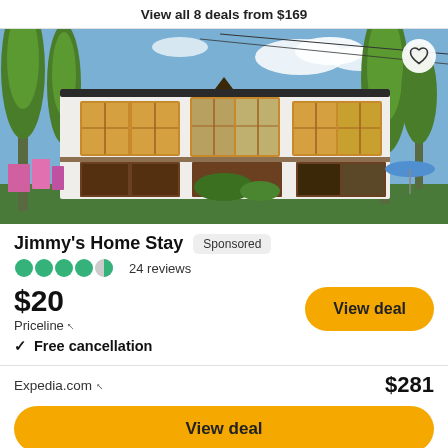View all 8 deals from $169
[Figure (photo): Exterior photo of Jimmy's Home Stay, a white two-story building with wooden-framed windows in Ladakhi architectural style, surrounded by tall green trees, with colorful laundry hanging on the left, blue sky with clouds visible, and a heart/save button in the top-right corner.]
Jimmy's Home Stay
Sponsored
24 reviews
$20
Priceline ↗
View deal
✓  Free cancellation
Expedia.com ↗
$281
View deal